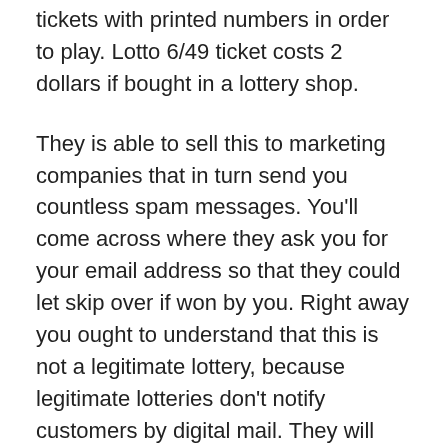tickets with printed numbers in order to play. Lotto 6/49 ticket costs 2 dollars if bought in a lottery shop.
They is able to sell this to marketing companies that in turn send you countless spam messages. You'll come across where they ask you for your email address so that they could let skip over if won by you. Right away you ought to understand that this is not a legitimate lottery, because legitimate lotteries don't notify customers by digital mail. They will contact you by phone, or registered mail, even by person but never by email. [REDACTED] [REDACTED] for entering the online lottery which means that your email address is given away in useless.
It's kind of like horse race handicapping. If you're smart, you wouldn't bet on a horse without studying its past overall performance. So why are you bet